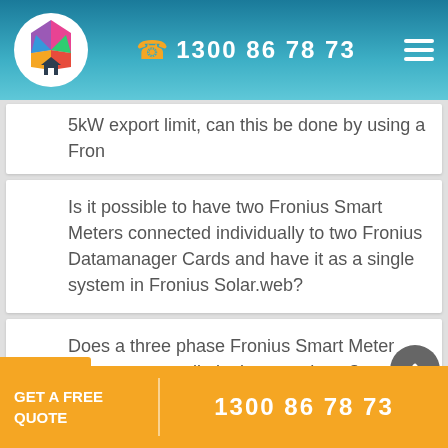1300 86 78 73
5kW export limit, can this be done by using a Fron
Is it possible to have two Fronius Smart Meters connected individually to two Fronius Datamanager Cards and have it as a single system in Fronius Solar.web?
Does a three phase Fronius Smart Meter manage export limitation per phase?
I am installing 2 x single phase
GET A FREE QUOTE
1300 86 78 73